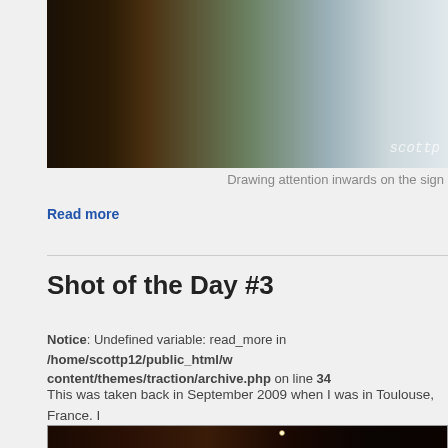[Figure (photo): A blurred/dark photograph, partially visible, with a watermark reading 'scottp' in the lower right corner]
Drawing attention inwards on the sign
Read more
Shot of the Day #3
Notice: Undefined variable: read_more in /home/scottp12/public_html/wp-content/themes/traction/archive.php on line 34
This was taken back in September 2009 when I was in Toulouse, France. I awesome crepes with whipped cream about 20cm high off the plate :), and had the chance to experiment a bit with my camera settings, while I ate the
[Figure (photo): A dark warm-toned photograph, partially visible at the bottom of the page, showing a dimly lit interior scene with a small bright light]